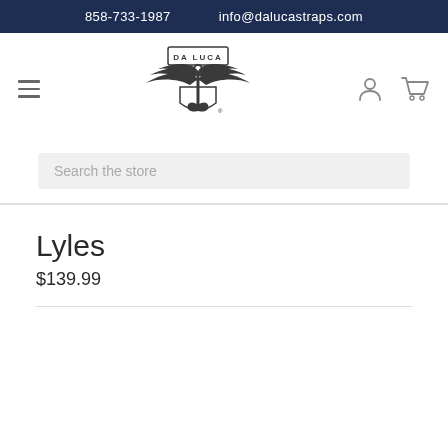858-733-1987    info@dalucastraps.com
[Figure (logo): Da Luca Straps logo — winged anchor with shield and text DA LUCA]
Search the store
Lyles
$139.99
Quantity: